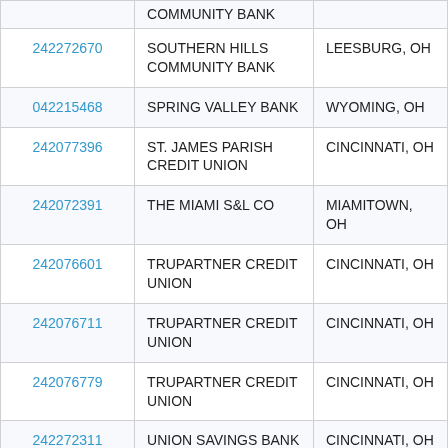| Routing Number | Institution Name | Location |
| --- | --- | --- |
| 242272670 | SOUTHERN HILLS COMMUNITY BANK | LEESBURG, OH |
| 042215468 | SPRING VALLEY BANK | WYOMING, OH |
| 242077396 | ST. JAMES PARISH CREDIT UNION | CINCINNATI, OH |
| 242072391 | THE MIAMI S&L CO | MIAMITOWN, OH |
| 242076601 | TRUPARTNER CREDIT UNION | CINCINNATI, OH |
| 242076711 | TRUPARTNER CREDIT UNION | CINCINNATI, OH |
| 242076779 | TRUPARTNER CREDIT UNION | CINCINNATI, OH |
| 242272311 | UNION SAVINGS BANK | CINCINNATI, OH |
| 242077503 | UPS CREDIT UNION | CINCINNATI, OH |